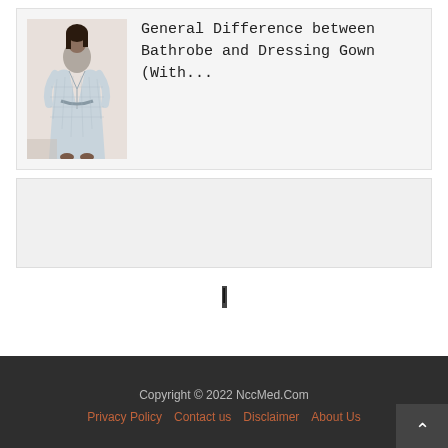[Figure (photo): Photo of a person wearing a light blue/white plaid bathrobe or dressing gown, full length, standing against a neutral background]
General Difference between Bathrobe and Dressing Gown (With...
[Figure (other): Advertisement/placeholder box]
|
Copyright © 2022 NccMed.Com
Privacy Policy   Contact us   Disclaimer   About Us